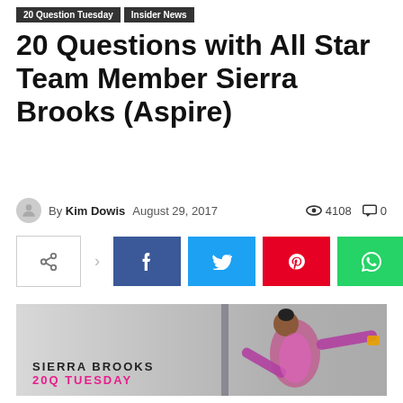20 Question Tuesday | Insider News
20 Questions with All Star Team Member Sierra Brooks (Aspire)
By Kim Dowis  August 29, 2017  4108 views  0 comments
[Figure (other): Social share buttons: share icon, Facebook, Twitter, Pinterest, WhatsApp]
[Figure (photo): Photo of Sierra Brooks, a gymnast in a pink and purple leotard with arms outstretched, with text overlay reading SIERRA BROOKS and 20Q TUESDAY in pink]